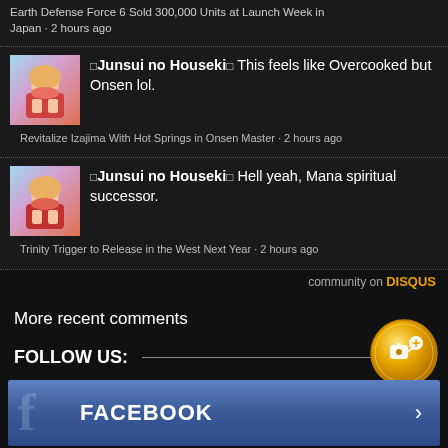Earth Defense Force 6 Sold 300,000 Units at Launch Week in Japan · 2 hours ago
□Junsui no Houseki□ This feels like Overcooked but Onsen lol.
Revitalize Izajima With Hot Springs in Onsen Master · 2 hours ago
□Junsui no Houseki□ Hell yeah, Mana spiritual successor.
Trinity Trigger to Release in the West Next Year · 2 hours ago
community on DISQUS
More recent comments
FOLLOW US:
[Figure (logo): Gold circular badge with joystick and plus icon]
FACEBOOK →